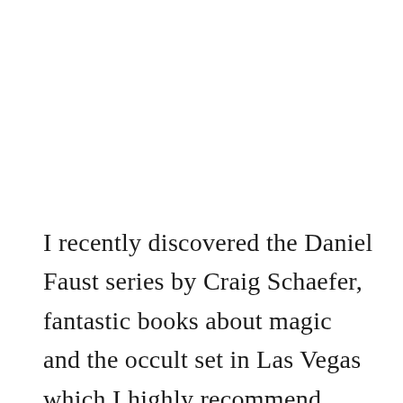I recently discovered the Daniel Faust series by Craig Schaefer, fantastic books about magic and the occult set in Las Vegas which I highly recommend. Today I interview Craig about his writing.